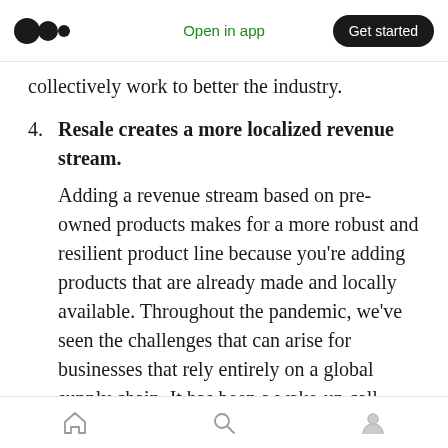Medium logo | Open in app | Get started
collectively work to better the industry.
4. Resale creates a more localized revenue stream. Adding a revenue stream based on pre-owned products makes for a more robust and resilient product line because you're adding products that are already made and locally available. Throughout the pandemic, we've seen the challenges that can arise for businesses that rely entirely on a global supply chain. It has been a wake-up call that's directed everyone's attention to resale.
Home | Search | Profile